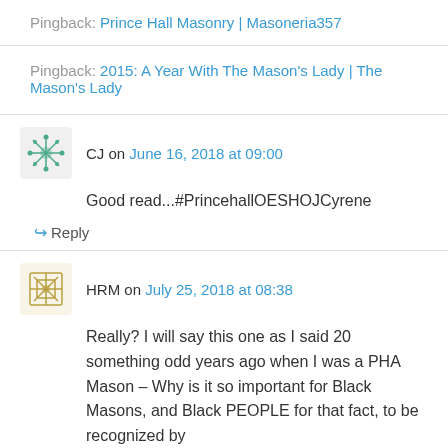Pingback: Prince Hall Masonry | Masoneria357
Pingback: 2015: A Year With The Mason's Lady | The Mason's Lady
CJ on June 16, 2018 at 09:00
Good read...#PrincehallOESHOJCyrene
↪ Reply
HRM on July 25, 2018 at 08:38
Really? I will say this one as I said 20 something odd years ago when I was a PHA Mason – Why is it so important for Black Masons, and Black PEOPLE for that fact, to be recognized by